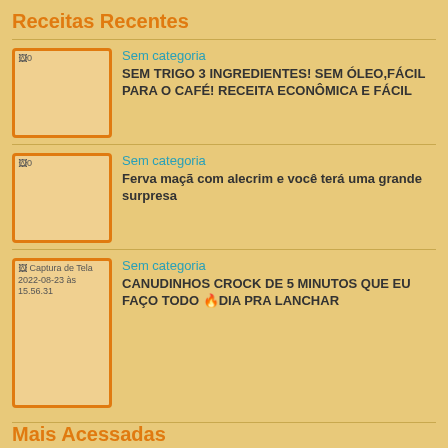Receitas Recentes
[Figure (photo): Broken image placeholder with alt text '0']
Sem categoria
SEM TRIGO 3 INGREDIENTES! SEM ÓLEO,FÁCIL PARA O CAFÉ! RECEITA ECONÔMICA E FÁCIL
[Figure (photo): Broken image placeholder with alt text '0']
Sem categoria
Ferva maçã com alecrim e você terá uma grande surpresa
[Figure (photo): Broken image with alt text 'Captura de Tela 2022-08-23 às 15.56.31']
Sem categoria
CANUDINHOS CROCK DE 5 MINUTOS QUE EU FAÇO TODO 🔥DIA PRA LANCHAR
Mais Acessadas
[Figure (photo): Photo of mini sonhos (fried pastries)]
Sem categoria
MINI-SONHO RÁPIDO E FÁCIL... DELICIOSO DEMAIS! (veja a receita passo a passo)